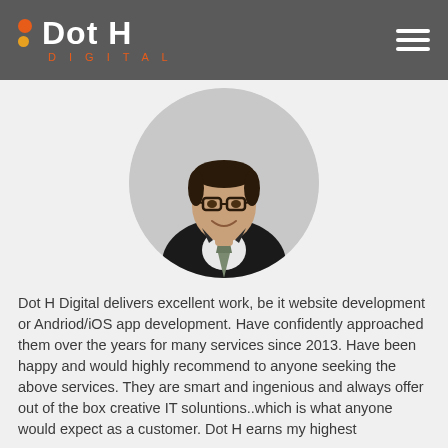Dot H Digital
[Figure (photo): Circular profile photo of a man wearing glasses and a dark suit with a patterned tie, against a light grey background.]
Dot H Digital delivers excellent work, be it website development or Andriod/iOS app development. Have confidently approached them over the years for many services since 2013. Have been happy and would highly recommend to anyone seeking the above services. They are smart and ingenious and always offer out of the box creative IT soluntions..which is what anyone would expect as a customer. Dot H earns my highest